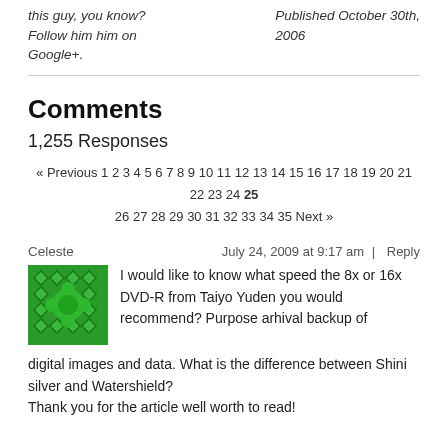this guy, you know? Follow him him on Google+.
Published October 30th, 2006
Comments
1,255 Responses
« Previous 1 2 3 4 5 6 7 8 9 10 11 12 13 14 15 16 17 18 19 20 21 22 23 24 25 26 27 28 29 30 31 32 33 34 35 Next »
Celeste — July 24, 2009 at 9:17 am | Reply
[Figure (other): Green decorative avatar icon with diamond/flower pattern]
I would like to know what speed the 8x or 16x DVD-R from Taiyo Yuden you would recommend? Purpose arhival backup of digital images and data. What is the difference between Shini silver and Watershield?
Thank you for the article well worth to read!